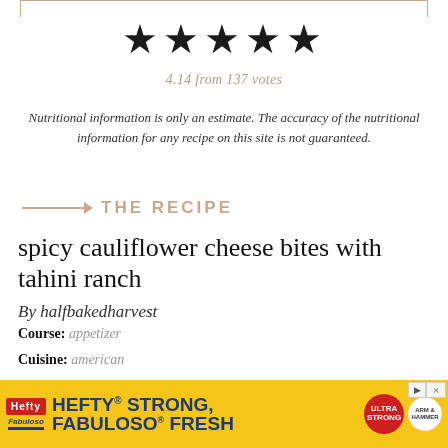[Figure (other): Five black star rating icons]
4.14 from 137 votes
Nutritional information is only an estimate. The accuracy of the nutritional information for any recipe on this site is not guaranteed.
THE RECIPE
spicy cauliflower cheese bites with tahini ranch
By halfbakedharvest
Course: appetizer
Cuisine: american
Keyword: sharing appetizer, spicy appetizer, vegetarian appetiser
Better than chicken wings, and with a healthier ranch, the perfect
[Figure (screenshot): Hefty advertisement banner: HEFTY STRONG, FABULOSO FRESH on yellow background with Hefty and Fabuloso logos]